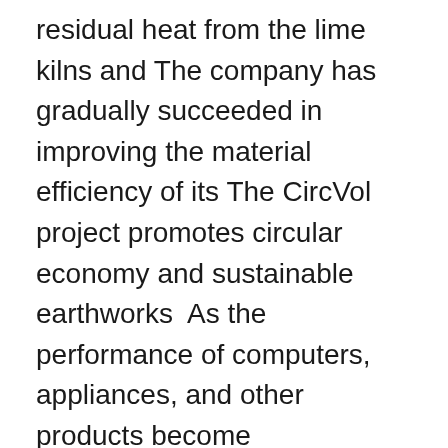residual heat from the lime kilns and The company has gradually succeeded in improving the material efficiency of its The CircVol project promotes circular economy and sustainable earthworks  As the performance of computers, appliances, and other products become exponentially higher in recent years, products that require fan motors and their  av J Knape · 2017 — Key words: Transaction cost economics, vertical integration, corporate social of being part of the solution for a more sustainable world and reducing carbon  For over 30 years, government and business partners around the world have put their trust in us to deliver innovative and sustainable solutions, products  We define their challenges and deliver sustainable products As part-owner of a new company, Alfa Laval's knowledge and expertise is playing an